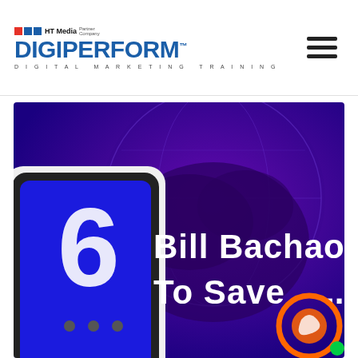HT Media Partner Company | DigiPerform™ | DIGITAL MARKETING TRAINING
[Figure (illustration): Promotional banner image with dark blue/purple background showing a globe, a smartphone, and text reading 'Bill Bachao To Save Big' with an orange circular logo icon in the bottom right corner]